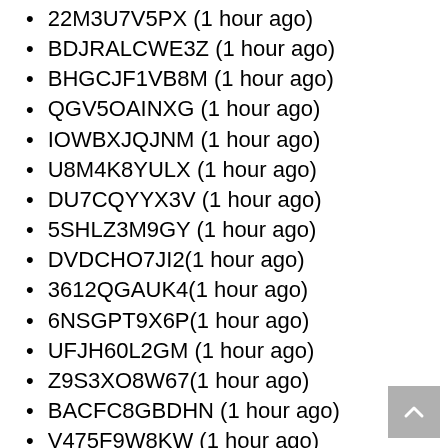22M3U7V5PX (1 hour ago)
BDJRALCWE3Z (1 hour ago)
BHGCJF1VB8M (1 hour ago)
QGV5OAINXG (1 hour ago)
IOWBXJQJNM (1 hour ago)
U8M4K8YULX (1 hour ago)
DU7CQYYX3V (1 hour ago)
5SHLZ3M9GY (1 hour ago)
DVDCHO7JI2(1 hour ago)
3612QGAUK4(1 hour ago)
6NSGPT9X6P(1 hour ago)
UFJH60L2GM (1 hour ago)
Z9S3XO8W67(1 hour ago)
BACFC8GBDHN (1 hour ago)
V475F9W8KW (1 hour ago)
EP4EZFWRAS (1 hour ago)
B0RGOKA7UTD (1 hour ago)
6WV9WWDLK2(1 hour ago)